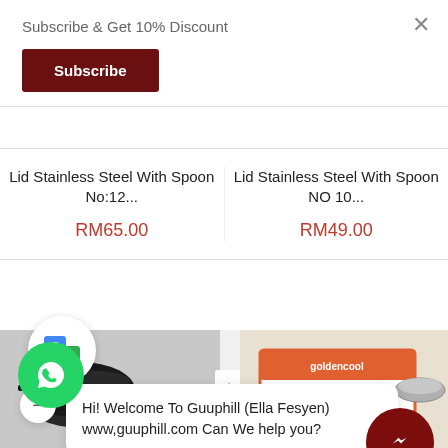Subscribe & Get 10% Discount
Subscribe
Lid Stainless Steel With Spoon No:12...
Lid Stainless Steel With Spoon NO 10...
RM65.00
RM49.00
[Figure (logo): Google Translate icon in a white circle]
Hi! Welcome To Guuphill (Ella Fesyen) www,guuphill.com Can We help you?
[Figure (photo): Bottom strip showing cookware products on the left and a boxed product on the right]